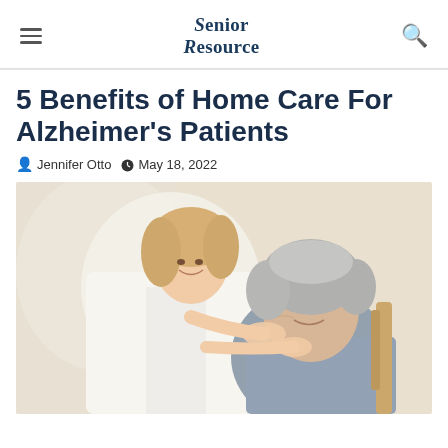Senior Resource
5 Benefits of Home Care For Alzheimer's Patients
Jennifer Otto  May 18, 2022
[Figure (photo): A smiling young female caregiver in a white coat placing her hands on the shoulders of an elderly woman with grey hair, who is seated and looking up at her warmly.]